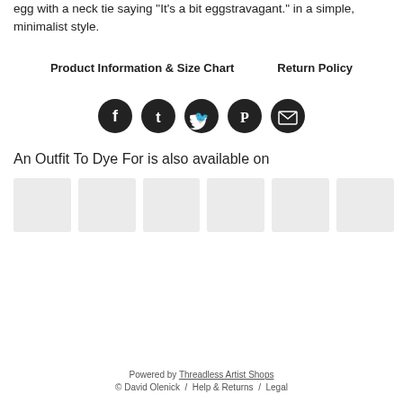egg with a neck tie saying "It's a bit eggstravagant." in a simple, minimalist style.
Product Information & Size Chart    Return Policy
[Figure (other): Row of 5 social media icon buttons (Facebook, Tumblr, Twitter, Pinterest, Email) as dark circles with white icons]
An Outfit To Dye For is also available on
[Figure (other): 6 light gray placeholder thumbnail boxes arranged in a row]
Powered by Threadless Artist Shops
© David Olenick / Help & Returns / Legal